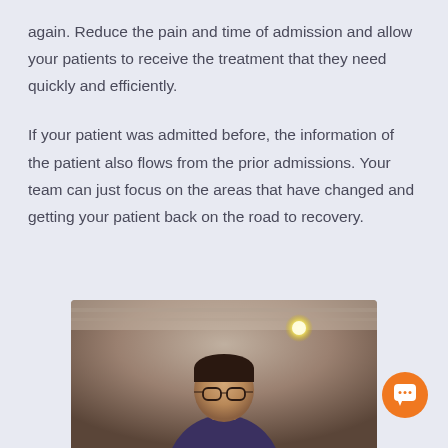again. Reduce the pain and time of admission and allow your patients to receive the treatment that they need quickly and efficiently.
If your patient was admitted before, the information of the patient also flows from the prior admissions. Your team can just focus on the areas that have changed and getting your patient back on the road to recovery.
[Figure (photo): A person (doctor or healthcare professional with glasses) photographed from the chest up in an indoor setting with warm overhead lighting and a blurred background.]